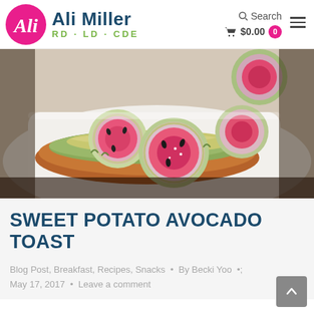Ali Miller RD · LD · CDE — Search | $0.00 0
[Figure (photo): Close-up photo of sweet potato avocado toast topped with sliced watermelon radishes on a white plate, showing vibrant pink and green colors.]
SWEET POTATO AVOCADO TOAST
Blog Post, Breakfast, Recipes, Snacks • By Becki Yoo • May 17, 2017 • Leave a comment